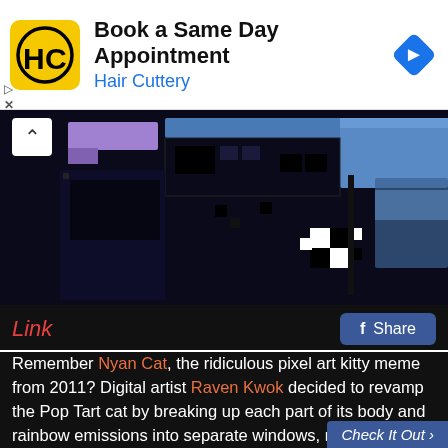[Figure (infographic): Hair Cuttery advertisement banner with yellow/black HC logo, text 'Book a Same Day Appointment / Hair Cuttery', and blue diamond navigation icon]
[Figure (screenshot): Pixel art screenshot showing dark background with blue/black/white rectangular pixel art blocks resembling the Nyan Cat broken-windows digital art by Raven Kwok. A white chevron/up-arrow button is in the top-left.]
Link
Remember Nyan Cat, the ridiculous pixel art kitty meme from 2011? Digital artist Raven Kwok decided to revamp the Pop Tart cat by breaking up each part of its body and rainbow emissions into separate windows, resulting in a totally different Nyan experience. Raven, we need this running on our computer now. With music.